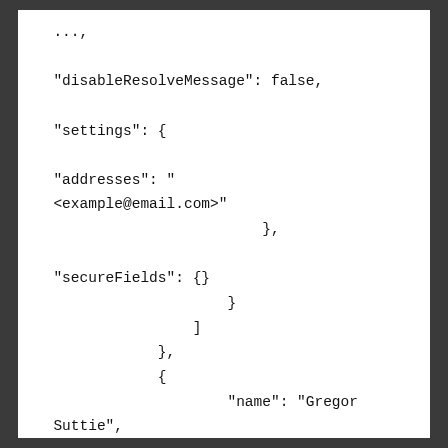...,
"disableResolveMessage": false,
"settings": {
"addresses": "<example@email.com>"
                        },
"secureFields": {}
                    }
                ]
            },
            {
                    "name": "Gregor Suttie",

"grafana_managed_receiver_configs": [
                        {
                            "uid": ""
                        ,